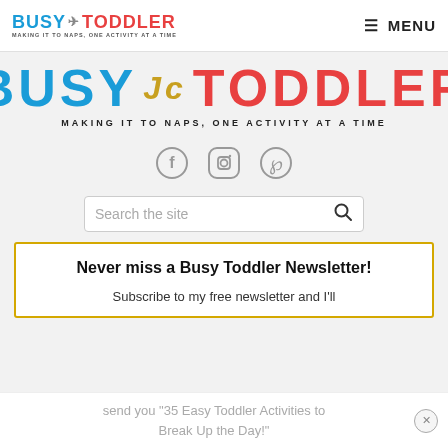BUSY [logo] TODDLER — MAKING IT TO NAPS, ONE ACTIVITY AT A TIME | MENU
[Figure (logo): Busy Toddler logo: BUSY in blue, paper airplane graphic, TODDLER in red, large decorative version with tagline MAKING IT TO NAPS, ONE ACTIVITY AT A TIME]
[Figure (infographic): Social media icons: Facebook, Instagram, Pinterest in gray]
Search the site
Never miss a Busy Toddler Newsletter!
Subscribe to my free newsletter and I'll
send you "35 Easy Toddler Activities to Break Up the Day!"